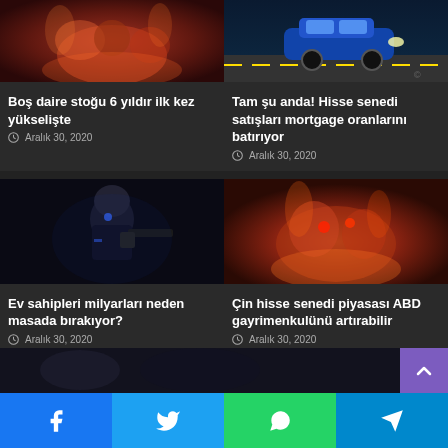[Figure (photo): Game/fantasy creature artwork in red/orange tones]
[Figure (photo): Blue sports car on road at night]
Boş daire stoğu 6 yıldır ilk kez yükselişte
Aralık 30, 2020
Tam şu anda! Hisse senedi satışları mortgage oranlarını batırıyor
Aralık 30, 2020
[Figure (photo): Sci-fi soldier with weapon on dark background]
[Figure (photo): Fantasy monster character artwork with fire]
Ev sahipleri milyarları neden masada bırakıyor?
Aralık 30, 2020
Çin hisse senedi piyasası ABD gayrimenkulünü artırabilir
Aralık 30, 2020